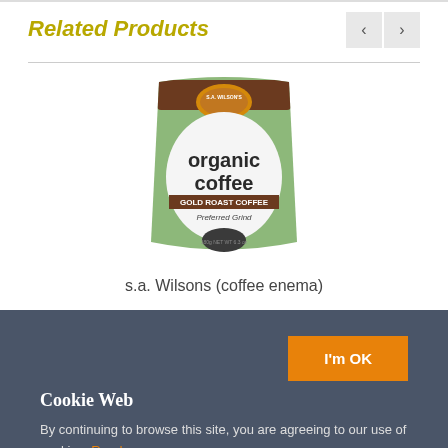Related Products
[Figure (photo): Bag of S.A. Wilson's Organic Coffee - Gold Roast Coffee, Preferred Grind, for coffee enema use]
s.a. Wilsons (coffee enema)
I'm OK
Cookie Web
By continuing to browse this site, you are agreeing to our use of cookies. Read more...